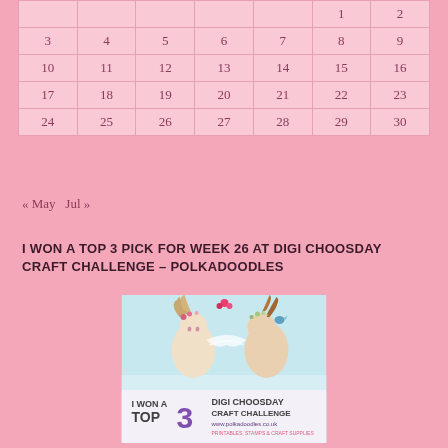| Sun | Mon | Tue | Wed | Thu | Fri | Sat |
| --- | --- | --- | --- | --- | --- | --- |
|  |  |  |  |  | 1 | 2 |
| 3 | 4 | 5 | 6 | 7 | 8 | 9 |
| 10 | 11 | 12 | 13 | 14 | 15 | 16 |
| 17 | 18 | 19 | 20 | 21 | 22 | 23 |
| 24 | 25 | 26 | 27 | 28 | 29 | 30 |
« May  Jul »
I WON A TOP 3 PICK FOR WEEK 26 AT DIGI CHOOSDAY CRAFT CHALLENGE – POLKADOODLES
[Figure (illustration): I Won a Top 3 Digi Choosday Craft Challenge badge featuring two illustrated fairy/elf characters with wild hair and wreaths, with text: I WON A TOP 3 DIGI CHOOSDAY CRAFT CHALLENGE www.polkadoodles.co.uk PRINTABLES, STAMPS & CRAFT SUPPLIES]